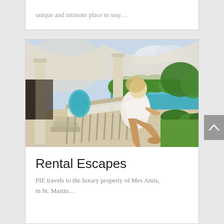unique and intimate place to stay…
[Figure (photo): A woman in a white outfit sitting on a lounge chair on a terrace with columns, green trees and the ocean visible in the background, at Mes Amis, St. Martin]
Rental Escapes
PIE travels to the luxury property of Mes Amis, in St. Martin…